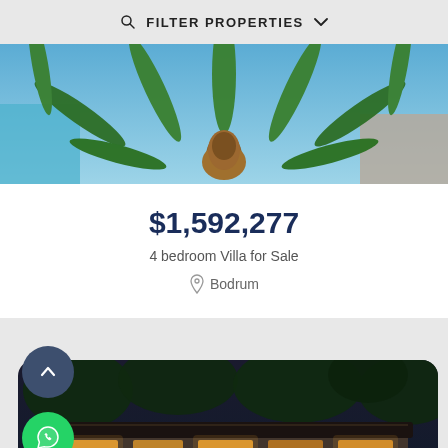FILTER PROPERTIES
[Figure (photo): Close-up photo of a cycas/sago palm tree from above showing green fronds radiating outward with a pool visible in the background]
$1,592,277
4 bedroom Villa for Sale
Bodrum
[Figure (photo): Nighttime aerial photo of a luxury stone villa with warm interior lighting surrounded by trees and Mediterranean landscape]